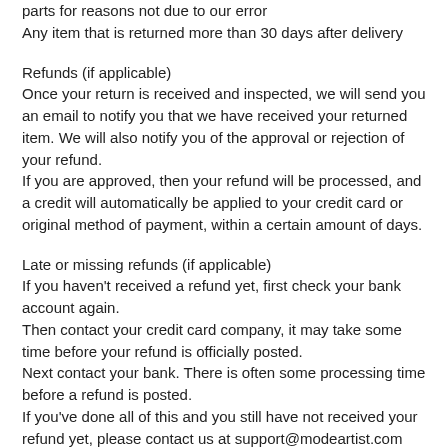parts for reasons not due to our error
Any item that is returned more than 30 days after delivery
Refunds (if applicable)
Once your return is received and inspected, we will send you an email to notify you that we have received your returned item. We will also notify you of the approval or rejection of your refund.
If you are approved, then your refund will be processed, and a credit will automatically be applied to your credit card or original method of payment, within a certain amount of days.
Late or missing refunds (if applicable)
If you haven't received a refund yet, first check your bank account again.
Then contact your credit card company, it may take some time before your refund is officially posted.
Next contact your bank. There is often some processing time before a refund is posted.
If you've done all of this and you still have not received your refund yet, please contact us at support@modeartist.com